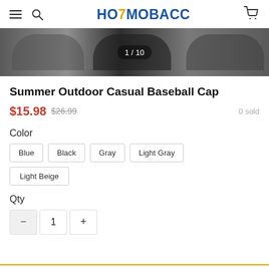HOTMOBACC — navigation header with hamburger menu, search icon, logo, and cart icon
[Figure (photo): Product image strip showing baseball cap from multiple angles, with image counter '1 / 10' overlaid in center]
Summer Outdoor Casual Baseball Cap
$15.98  $26.99  0 sold
Color
Blue
Black
Gray
Light Gray
Light Beige
Qty
- 1 +